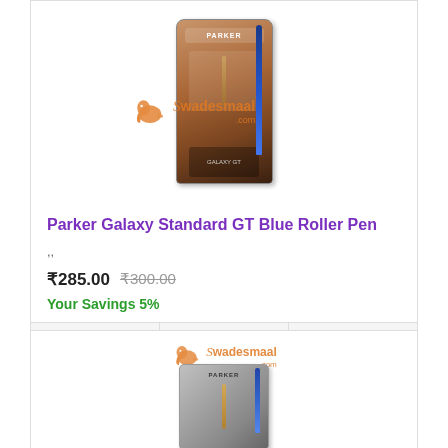[Figure (photo): Parker Galaxy Standard GT Blue Roller Pen product image with Swadesmaal.com watermark]
Parker Galaxy Standard GT Blue Roller Pen
,,
₹285.00  ₹300.00
Your Savings 5%
[Figure (photo): Second product image (pen) with Swadesmaal.com watermark]